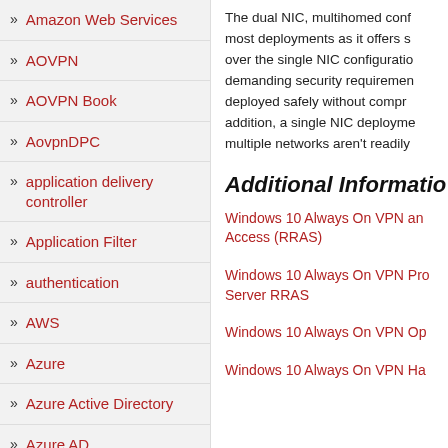Amazon Web Services
AOVPN
AOVPN Book
AovpnDPC
application delivery controller
Application Filter
authentication
AWS
Azure
Azure Active Directory
Azure AD
Azure AD Join
Azure Application
The dual NIC, multihomed conf most deployments as it offers s over the single NIC configuratio demanding security requiremen deployed safely without compr addition, a single NIC deployme multiple networks aren't readily
Additional Informatio
Windows 10 Always On VPN and Access (RRAS)
Windows 10 Always On VPN Pro Server RRAS
Windows 10 Always On VPN Op
Windows 10 Always On VPN Ha